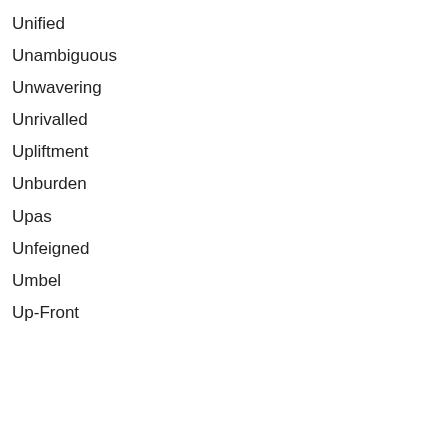Unified
Unambiguous
Unwavering
Unrivalled
Upliftment
Unburden
Upas
Unfeigned
Umbel
Up-Front